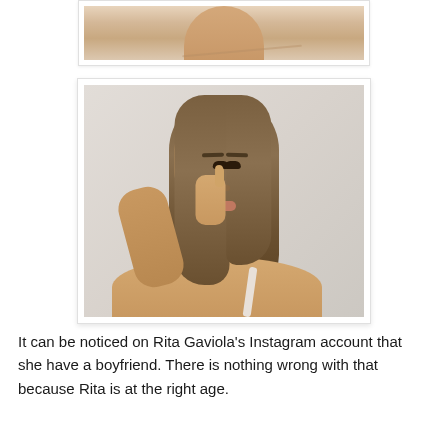[Figure (photo): Partial photo showing a person's shoulder/neck area, cropped at top of page]
[Figure (photo): Portrait photo of a young woman with straight brown hair, hand resting against her cheek, wearing a light-colored top, against a neutral background]
It can be noticed on Rita Gaviola's Instagram account that she have a boyfriend. There is nothing wrong with that because Rita is at the right age.